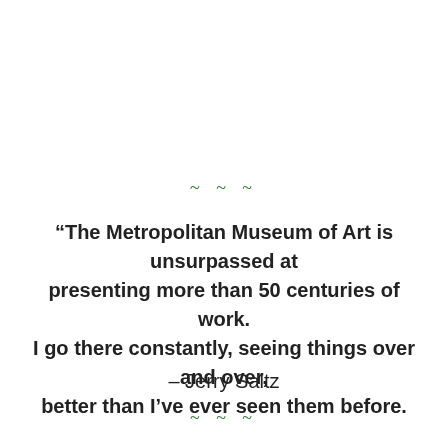~~~
“The Metropolitan Museum of Art is unsurpassed at presenting more than 50 centuries of work. I go there constantly, seeing things over and over, better than I’ve ever seen them before.
– Jerry Saltz
~~~